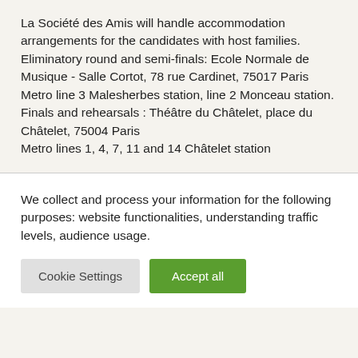La Société des Amis will handle accommodation arrangements for the candidates with host families.
Eliminatory round and semi-finals: Ecole Normale de Musique - Salle Cortot, 78 rue Cardinet, 75017 Paris Metro line 3 Malesherbes station, line 2 Monceau station.
Finals and rehearsals : Théâtre du Châtelet, place du Châtelet, 75004 Paris
Metro lines 1, 4, 7, 11 and 14 Châtelet station
We collect and process your information for the following purposes: website functionalities, understanding traffic levels, audience usage.
Cookie Settings
Accept all